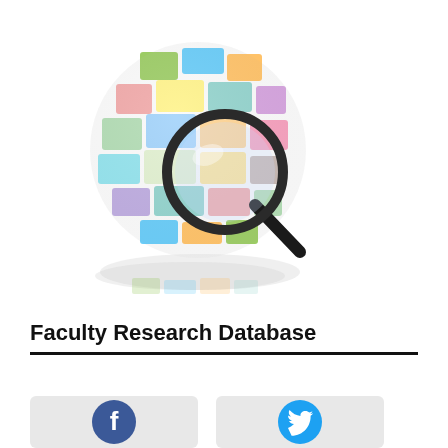[Figure (illustration): A colorful globe made of website/web page tiles with a large magnifying glass overlaid on it, with a reflection below. Suggests internet research or web search.]
Faculty Research Database
[Figure (illustration): Two social media button icons (Facebook and Twitter) partially visible at the bottom of the page, in light grey rounded rectangle button shapes.]